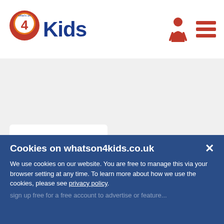[Figure (logo): Whats On 4 Kids logo with map pin icon and bold blue 'Kids' text]
[Figure (illustration): Turtle Tots logo inside a green heart shape with text 'turtle tots. Bring on the smiles']
[Figure (illustration): Diddi Dance logo with colorful silhouettes of jumping children arranged in a circle spelling 'diddi dance']
Cookies on whatson4kids.co.uk
We use cookies on our website. You are free to manage this via your browser setting at any time. To learn more about how we use the cookies, please see privacy policy.